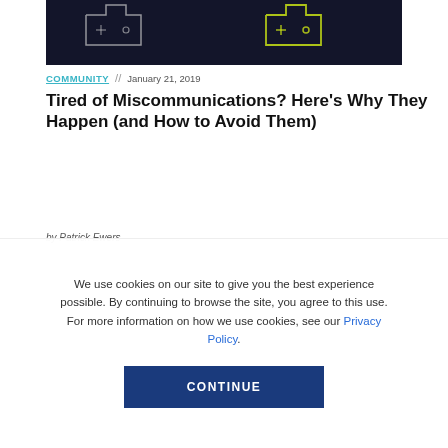[Figure (photo): Dark background hero image with glowing yellow-green and white outlined game controller icons]
COMMUNITY // January 21, 2019
Tired of Miscommunications? Here’s Why They Happen (and How to Avoid Them)
by Patrick Ewers
We use cookies on our site to give you the best experience possible. By continuing to browse the site, you agree to this use. For more information on how we use cookies, see our Privacy Policy.
CONTINUE